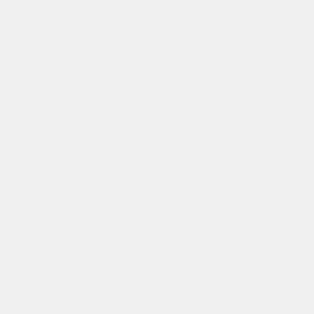https://w... mumbai.p...
https://w... pune.php...
https://w... agra.php...
https://w... kolkata.p...
https://w... patna.ph...
https://w... guwahati...
https://w... ranchi.ph...
https://w... mussoom...
https://w... varanasi...
https://w... kanpur.p...
https://w... bhopal.p...